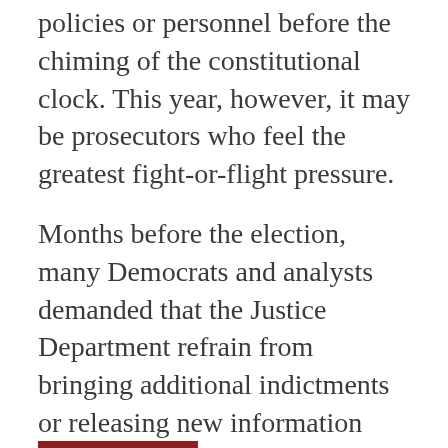policies or personnel before the chiming of the constitutional clock. This year, however, it may be prosecutors who feel the greatest fight-or-flight pressure.
Months before the election, many Democrats and analysts demanded that the Justice Department refrain from bringing additional indictments or releasing new information connected to either the Russia investigation or the